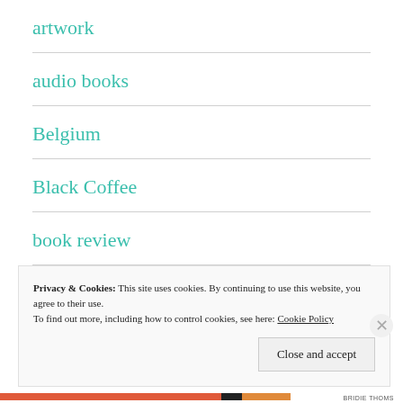artwork
audio books
Belgium
Black Coffee
book review
Cards on the Table
Privacy & Cookies: This site uses cookies. By continuing to use this website, you agree to their use.
To find out more, including how to control cookies, see here: Cookie Policy
Close and accept